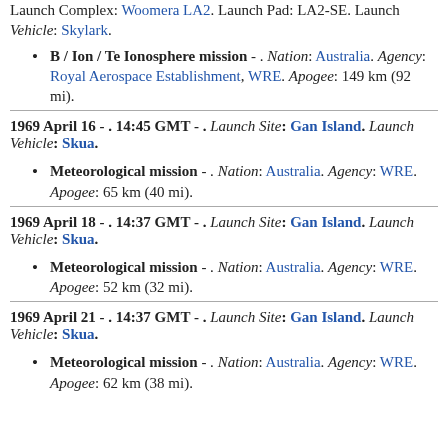Launch Complex: Woomera LA2. Launch Pad: LA2-SE. Launch Vehicle: Skylark.
B / Ion / Te Ionosphere mission - . Nation: Australia. Agency: Royal Aerospace Establishment, WRE. Apogee: 149 km (92 mi).
1969 April 16 - . 14:45 GMT - . Launch Site: Gan Island. Launch Vehicle: Skua.
Meteorological mission - . Nation: Australia. Agency: WRE. Apogee: 65 km (40 mi).
1969 April 18 - . 14:37 GMT - . Launch Site: Gan Island. Launch Vehicle: Skua.
Meteorological mission - . Nation: Australia. Agency: WRE. Apogee: 52 km (32 mi).
1969 April 21 - . 14:37 GMT - . Launch Site: Gan Island. Launch Vehicle: Skua.
Meteorological mission - . Nation: Australia. Agency: WRE. Apogee: 62 km (38 mi).